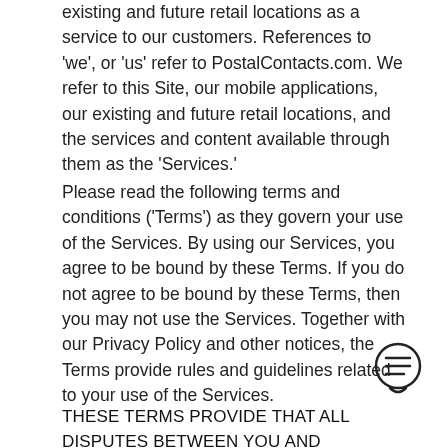existing and future retail locations as a service to our customers. References to 'we', or 'us' refer to PostalContacts.com. We refer to this Site, our mobile applications, our existing and future retail locations, and the services and content available through them as the 'Services.'
Please read the following terms and conditions ('Terms') as they govern your use of the Services. By using our Services, you agree to be bound by these Terms. If you do not agree to be bound by these Terms, then you may not use the Services. Together with our Privacy Policy and other notices, the Terms provide rules and guidelines related to your use of the Services.
[Figure (illustration): Chat/message bubble icon with text lines inside, circular outline]
THESE TERMS PROVIDE THAT ALL DISPUTES BETWEEN YOU AND PostalContacts.com RELATING